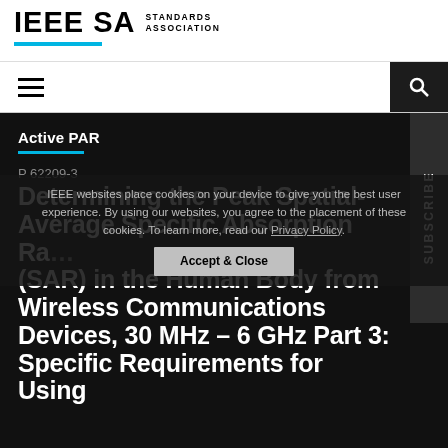IEEE SA STANDARDS ASSOCIATION
Active PAR
P 62209-3
Determining the Peak Spatial-Average Specific Absorption Rate (SAR) in the Human Body from Wireless Communications Devices, 30 MHz - 6 GHz Part 3: Specific Requirements for Using
IEEE websites place cookies on your device to give you the best user experience. By using our websites, you agree to the placement of these cookies. To learn more, read our Privacy Policy. Accept & Close